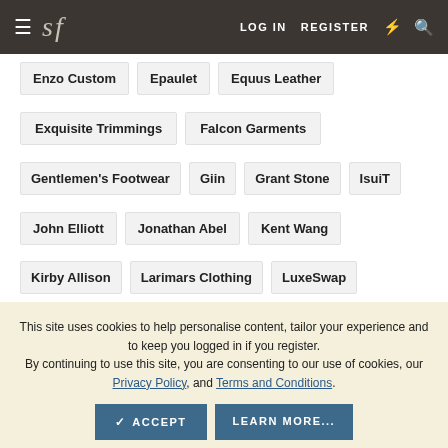sf | LOG IN  REGISTER
Enzo Custom
Epaulet
Equus Leather
Exquisite Trimmings
Falcon Garments
Gentlemen's Footwear
Giin
Grant Stone
IsuiT
John Elliott
Jonathan Abel
Kent Wang
Kirby Allison
Larimars Clothing
LuxeSwap
This site uses cookies to help personalise content, tailor your experience and to keep you logged in if you register.
By continuing to use this site, you are consenting to our use of cookies, our Privacy Policy, and Terms and Conditions.
SARTORIALE
SEH Kelly
Self Edge
Shop the Finest
Skoaktiebolaget
Spier and MacKay
Standard and Strange
Taylor Stitch
Threads of Apollo
UNI/FORM LA
Vanda Fine Clothing